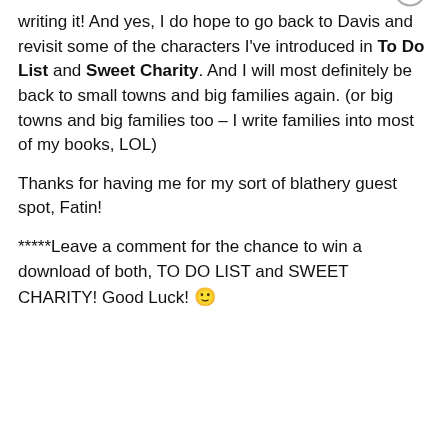writing it! And yes, I do hope to go back to Davis and revisit some of the characters I've introduced in To Do List and Sweet Charity. And I will most definitely be back to small towns and big families again. (or big towns and big families too – I write families into most of my books, LOL)
Thanks for having me for my sort of blathery guest spot, Fatin!
*****Leave a comment for the chance to win a download of both, TO DO LIST and SWEET CHARITY! Good Luck! 🙂
Privacy & Cookies: This site uses cookies. By continuing to use this website, you agree to their use.
To find out more, including how to control cookies, see here: Cookie Policy